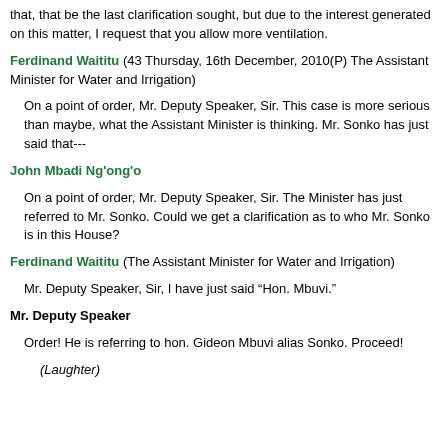that, that be the last clarification sought, but due to the interest generated on this matter, I request that you allow more ventilation.
Ferdinand Waititu (43 Thursday, 16th December, 2010(P) The Assistant Minister for Water and Irrigation)
On a point of order, Mr. Deputy Speaker, Sir. This case is more serious than maybe, what the Assistant Minister is thinking. Mr. Sonko has just said that---
John Mbadi Ng'ong'o
On a point of order, Mr. Deputy Speaker, Sir. The Minister has just referred to Mr. Sonko. Could we get a clarification as to who Mr. Sonko is in this House?
Ferdinand Waititu (The Assistant Minister for Water and Irrigation)
Mr. Deputy Speaker, Sir, I have just said “Hon. Mbuvi.”
Mr. Deputy Speaker
Order! He is referring to hon. Gideon Mbuvi alias Sonko. Proceed!
(Laughter)